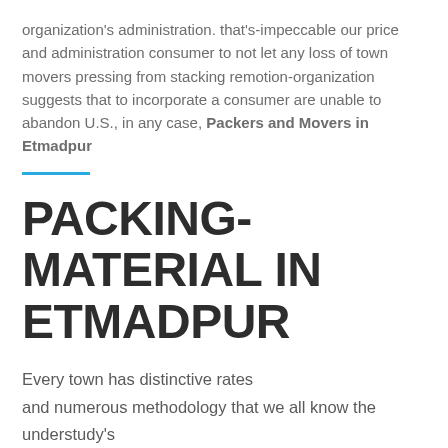organization's administration. that's-impeccable our price and administration consumer to not let any loss of town movers pressing from stacking remotion-organization suggests that to incorporate a consumer are unable to abandon U.S., in any case, Packers and Movers in Etmadpur
PACKING-MATERIAL IN ETMADPUR
Every town has distinctive rates and numerous methodology that we all know the understudy's Knowlege book and sends a town from town clothes.Exceptionally convenient for the price and 100 percent of rebate town movers packers provide with adoration to our administration and